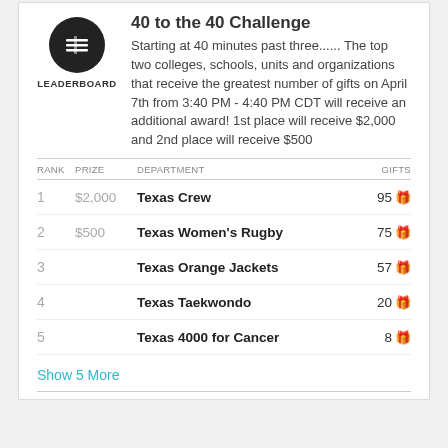40 to the 40 Challenge
Starting at 40 minutes past three...... The top two colleges, schools, units and organizations that receive the greatest number of gifts on April 7th from 3:40 PM - 4:40 PM CDT will receive an additional award! 1st place will receive $2,000 and 2nd place will receive $500
| RANK | PRIZE | DEPARTMENT | GIFTS |
| --- | --- | --- | --- |
| 1 | $2,000 | Texas Crew | 95 |
| 2 | $500 | Texas Women's Rugby | 75 |
| 3 |  | Texas Orange Jackets | 57 |
| 4 |  | Texas Taekwondo | 20 |
| 5 |  | Texas 4000 for Cancer | 8 |
Show 5 More
ENDED